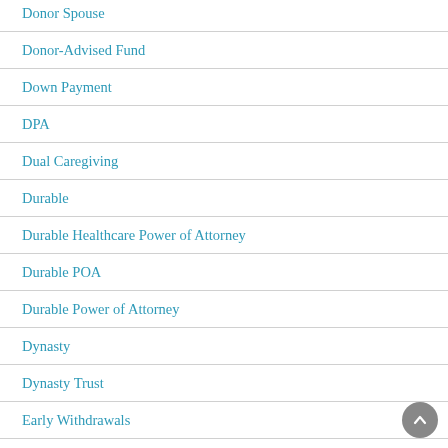Donor Spouse
Donor-Advised Fund
Down Payment
DPA
Dual Caregiving
Durable
Durable Healthcare Power of Attorney
Durable POA
Durable Power of Attorney
Dynasty
Dynasty Trust
Early Withdrawals
Earned Income